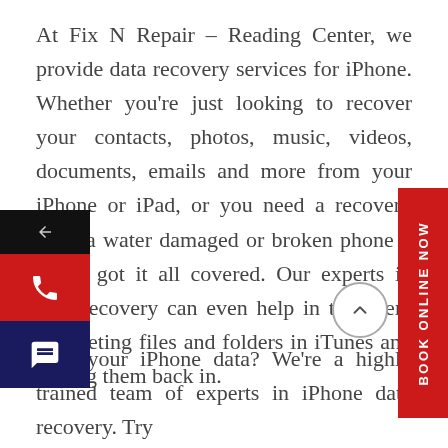At Fix N Repair – Reading Center, we provide data recovery services for iPhone. Whether you're just looking to recover your contacts, photos, music, videos, documents, emails and more from your iPhone or iPad, or you need a recovery from a water damaged or broken phone – we've got it all covered. Our experts in data recovery can even help in the event of deleting files and folders in iTunes and getting them back in.
[Figure (infographic): Phone contact widget with call and SMS buttons on the left side]
[Figure (infographic): Red vertical 'BOOK ONLINE NOW' button on the right side]
[Figure (other): Circular scroll-to-top button with upward chevron icon]
Lost your iPhone data? We're a highly trained team of experts in iPhone data recovery. Try